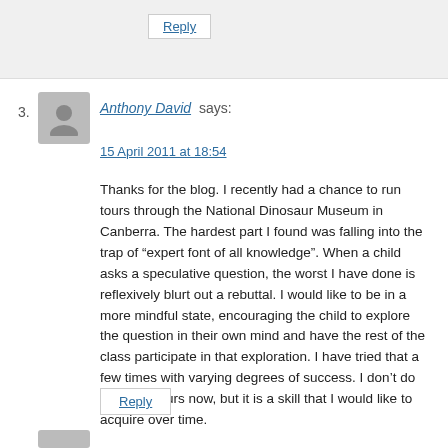Reply
3. Anthony David says:
15 April 2011 at 18:54
Thanks for the blog. I recently had a chance to run tours through the National Dinosaur Museum in Canberra. The hardest part I found was falling into the trap of “expert font of all knowledge”. When a child asks a speculative question, the worst I have done is reflexively blurt out a rebuttal. I would like to be in a more mindful state, encouraging the child to explore the question in their own mind and have the rest of the class participate in that exploration. I have tried that a few times with varying degrees of success. I don’t do so many tours now, but it is a skill that I would like to acquire over time.
Reply